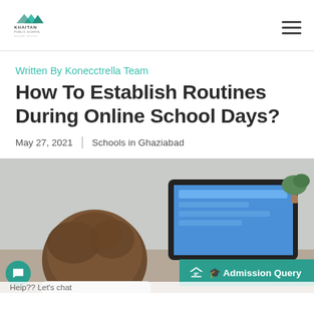Khaitan Public School
Written By Konecctrella Team
How To Establish Routines During Online School Days?
May 27, 2021  |  Schools in Ghaziabad
[Figure (photo): Student seen from behind, sitting at a desk in front of a monitor/tablet screen, studying online.]
Admission Query